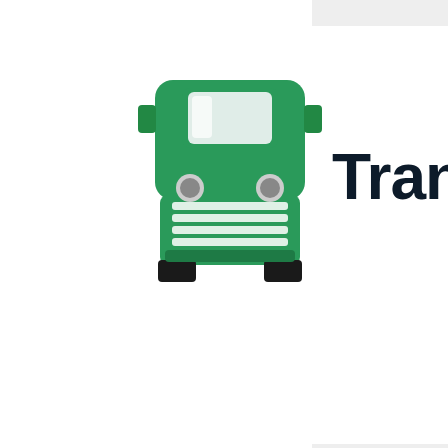[Figure (logo): Green semi-truck / freight truck icon viewed from front]
Transp
to

or

arise

out